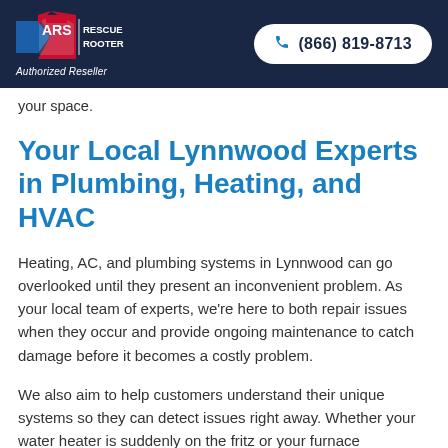[Figure (logo): ARS Rescue Rooter logo with Authorized Reseller text and phone number button (866) 819-8713 on dark navy header]
your space.
Your Local Lynnwood Experts in Plumbing, Heating, and HVAC
Heating, AC, and plumbing systems in Lynnwood can go overlooked until they present an inconvenient problem. As your local team of experts, we're here to both repair issues when they occur and provide ongoing maintenance to catch damage before it becomes a costly problem.
We also aim to help customers understand their unique systems so they can detect issues right away. Whether your water heater is suddenly on the fritz or your furnace